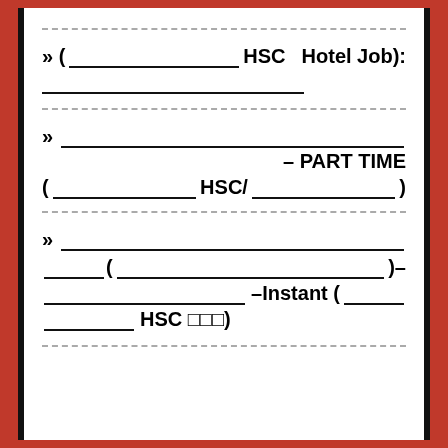» ( HSC Hotel Job):
» – PART TIME ( HSC/ )
» ( ) – –Instant ( HSC □□□)